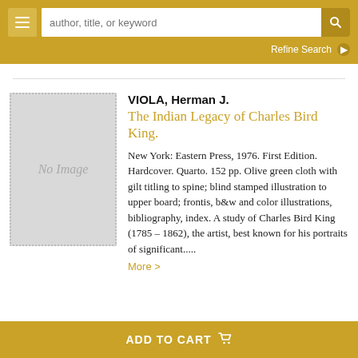author, title, or keyword | Refine Search
VIOLA, Herman J.
The Indian Legacy of Charles Bird King.
New York: Eastern Press, 1976. First Edition. Hardcover. Quarto. 152 pp. Olive green cloth with gilt titling to spine; blind stamped illustration to upper board; frontis, b&w and color illustrations, bibliography, index. A study of Charles Bird King (1785 – 1862), the artist, best known for his portraits of significant.....
More >
ADD TO CART